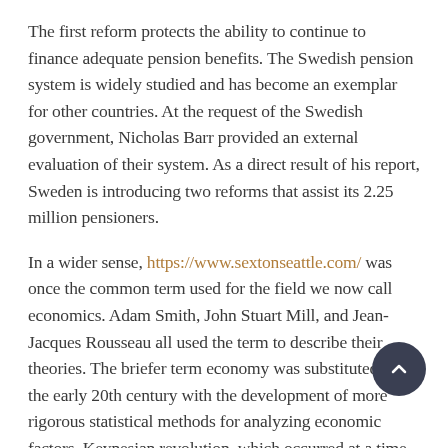The first reform protects the ability to continue to finance adequate pension benefits. The Swedish pension system is widely studied and has become an exemplar for other countries. At the request of the Swedish government, Nicholas Barr provided an external evaluation of their system. As a direct result of his report, Sweden is introducing two reforms that assist its 2.25 million pensioners.
In a wider sense, https://www.sextonseattle.com/ was once the common term used for the field we now call economics. Adam Smith, John Stuart Mill, and Jean-Jacques Rousseau all used the term to describe their theories. The briefer term economy was substituted in the early 20th century with the development of more rigorous statistical methods for analyzing economic factors. Keynesian revolution, which occurred at a time when governments were attempting to ameliorate the effects of the worldwide Great Depression of the 1930s, contributed to the rise of the welfare state
Read More